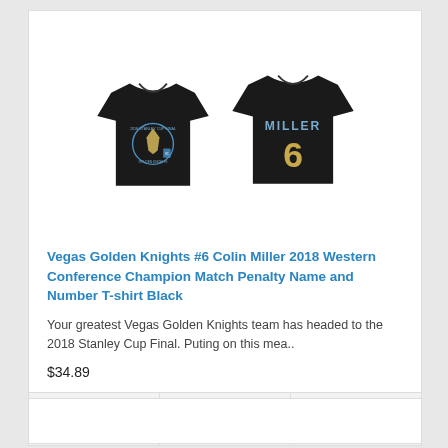[Figure (photo): Two black t-shirts showing front and back views. Front shirt has Vegas Golden Knights 2018 Stanley Cup Final logo. Back shirt shows MILLER #6 in gold/white lettering.]
Vegas Golden Knights #6 Colin Miller 2018 Western Conference Champion Match Penalty Name and Number T-shirt Black
Your greatest Vegas Golden Knights team has headed to the 2018 Stanley Cup Final. Puting on this mea..
$34.89